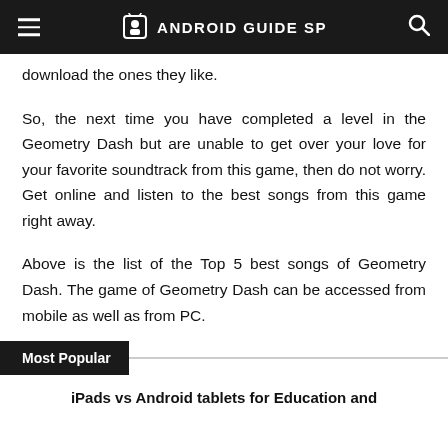ANDROID GUIDE SP
download the ones they like.
So, the next time you have completed a level in the Geometry Dash but are unable to get over your love for your favorite soundtrack from this game, then do not worry. Get online and listen to the best songs from this game right away.
Above is the list of the Top 5 best songs of Geometry Dash. The game of Geometry Dash can be accessed from mobile as well as from PC.
Most Popular
iPads vs Android tablets for Education and